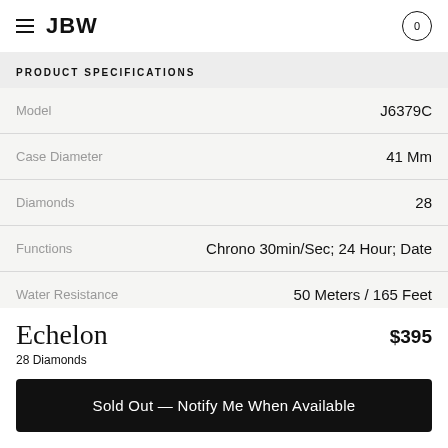JBW
PRODUCT SPECIFICATIONS
| Specification | Value |
| --- | --- |
| Model | J6379C |
| Case Diameter | 41 Mm |
| Diamonds | 28 |
| Functions | Chrono 30min/Sec; 24 Hour; Date |
| Water Resistance | 50 Meters / 165 Feet |
Echelon
28 Diamonds
$395
Sold Out — Notify Me When Available